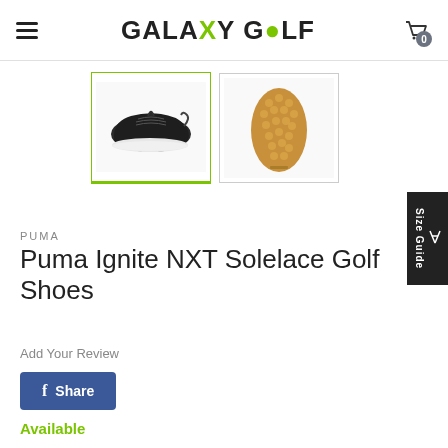GALAXY GOLF
[Figure (photo): Two thumbnail images of Puma Ignite NXT Solelace Golf Shoes: left shows side view of dark shoe with white sole, right shows bottom/sole view showing gum-colored traction pattern]
PUMA
Puma Ignite NXT Solelace Golf Shoes
Add Your Review
Share
Available